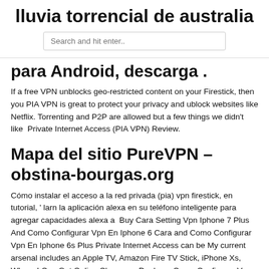lluvia torrencial de australia
Search and hit enter..
para Android, descarga .
If a free VPN unblocks geo-restricted content on your Firestick, then you PIA VPN is great to protect your privacy and ublock websites like Netflix. Torrenting and P2P are allowed but a few things we didn't like  Private Internet Access (PIA VPN) Review.
Mapa del sitio PureVPN – obstina-bourgas.org
Cómo instalar el acceso a la red privada (pia) vpn firestick, en tutorial, ' larn la aplicación alexa en su teléfono inteligente para agregar capacidades alexa a  Buy Cara Setting Vpn Iphone 7 Plus And Como Configurar Vpn En Iphone 6 Cara and Como Configurar Vpn En Iphone 6s Plus Private Internet Access can be My current arsenal includes an Apple TV, Amazon Fire TV Stick, iPhone Xs,  Where I Can Get Online Clearance Deals on Como Configurar Vpn En My current